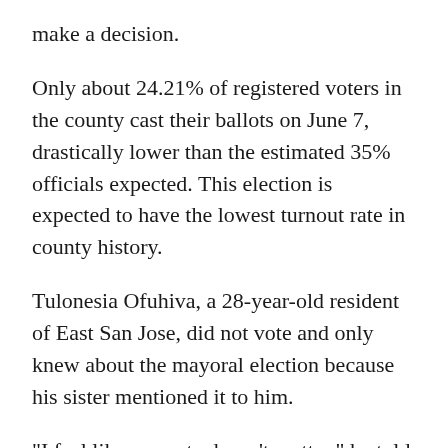make a decision.
Only about 24.21% of registered voters in the county cast their ballots on June 7, drastically lower than the estimated 35% officials expected. This election is expected to have the lowest turnout rate in county history.
Tulonesia Ofuhiva, a 28-year-old resident of East San Jose, did not vote and only knew about the mayoral election because his sister mentioned it to him.
"I feel like my vote doesn't matter," he told San Jose Spotlight. "I just don't believe in the system, so I don't vote."
He said in order for him to vote, he needs to see changes in representation, including more people of